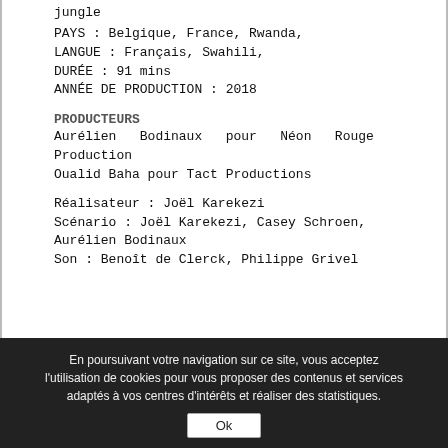jungle
PAYS : Belgique, France, Rwanda,
LANGUE : Français, Swahili,
DURÉE : 91 mins
ANNÉE DE PRODUCTION : 2018
PRODUCTEURS
Aurélien Bodinaux pour Néon Rouge Production
Oualid Baha pour Tact Productions
Réalisateur : Joël Karekezi
Scénario : Joël Karekezi, Casey Schroen, Aurélien Bodinaux
Son : Benoît de Clerck, Philippe Grivel
En poursuivant votre navigation sur ce site, vous acceptez l'utilisation de cookies pour vous proposer des contenus et services adaptés à vos centres d'intérêts et réaliser des statistiques.